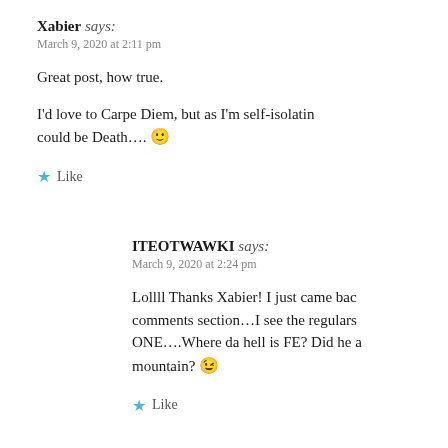Xabier says:
March 9, 2020 at 2:11 pm
Great post, how true.
I'd love to Carpe Diem, but as I'm self-isolating the Diem could be Death…. 🙂
Like
ITEOTWAWKI says:
March 9, 2020 at 2:24 pm
Lollll Thanks Xabier! I just came back to the comments section…I see the regulars are all here ONE….Where da hell is FE? Did he a mountain? 😉
Like